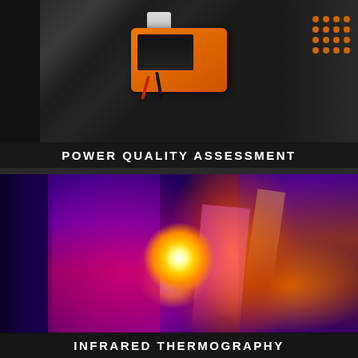[Figure (photo): Close-up photo of an orange and black electrical power quality meter/analyzer being held by a gloved hand, with cables attached, near electrical equipment panels with yellow dots visible on the right side. Dark industrial background.]
POWER QUALITY ASSESSMENT
[Figure (photo): Infrared thermography image of electrical equipment showing thermal heat signature with a bright white/yellow hotspot in the center-left area, surrounded by orange and red heat gradients indicating high temperature components, against a deep purple/blue cool background. Used for detecting overheating electrical faults.]
INFRARED THERMOGRAPHY